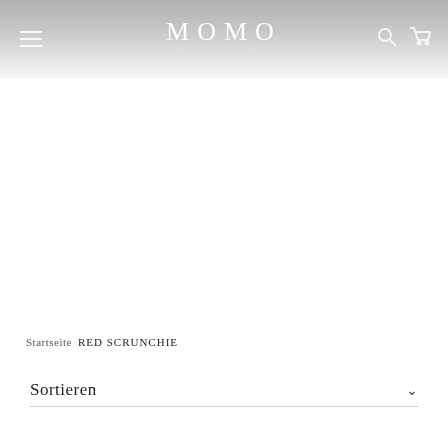MOMO NEW YORK
Startseite  RED SCRUNCHIE
Sortieren